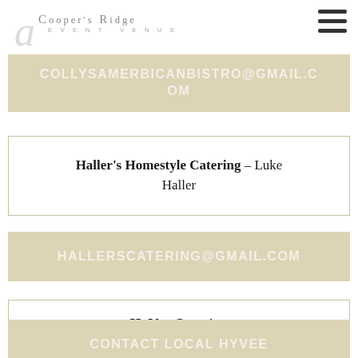[Figure (logo): Cooper's Ridge Event Venue logo with script letter and small caps text]
[Figure (other): Hamburger menu icon (three horizontal bars)]
COLLYSAMERBICANBISTRO@GMAIL.COM
Haller's Homestyle Catering – Luke Haller
HALLERSCATERING@GMAIL.COM
HyVee Catering
CONTACT LOCAL HYVEE